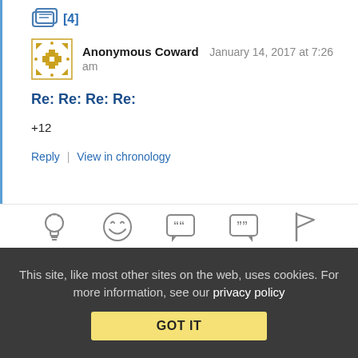[Figure (illustration): Chat/reply icon with [4] indicator in blue]
Anonymous Coward   January 14, 2017 at 7:26 am
Re: Re: Re: Re:
+12
Reply | View in chronology
[Figure (illustration): Row of action icons: lightbulb, laughing emoji, quote-start, quote-end, flag]
This site, like most other sites on the web, uses cookies. For more information, see our privacy policy
GOT IT